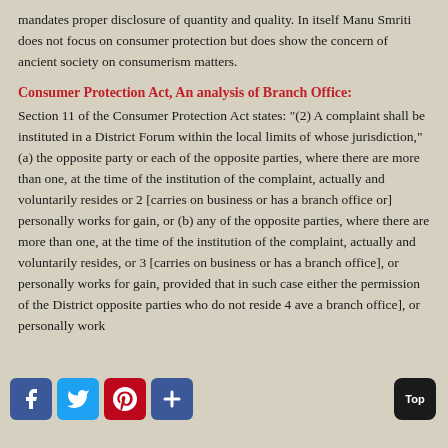mandates proper disclosure of quantity and quality. In itself Manu Smriti does not focus on consumer protection but does show the concern of ancient society on consumerism matters.
Consumer Protection Act, An analysis of Branch Office:
Section 11 of the Consumer Protection Act states: "(2) A complaint shall be instituted in a District Forum within the local limits of whose jurisdiction," (a) the opposite party or each of the opposite parties, where there are more than one, at the time of the institution of the complaint, actually and voluntarily resides or 2 [carries on business or has a branch office or] personally works for gain, or (b) any of the opposite parties, where there are more than one, at the time of the institution of the complaint, actually and voluntarily resides, or 3 [carries on business or has a branch office], or personally works for gain, provided that in such case either the permission of the District opposite parties who do not reside 4 ave a branch office], or personally work